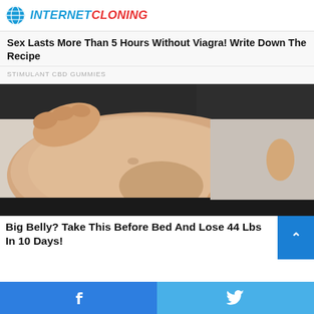INTERNET CLONING
Sex Lasts More Than 5 Hours Without Viagra! Write Down The Recipe
STIMULANT CBD GUMMIES
[Figure (photo): Person pinching belly fat with both hands, wearing a dark top and dark pants, on a light background]
Big Belly? Take This Before Bed And Lose 44 Lbs In 10 Days!